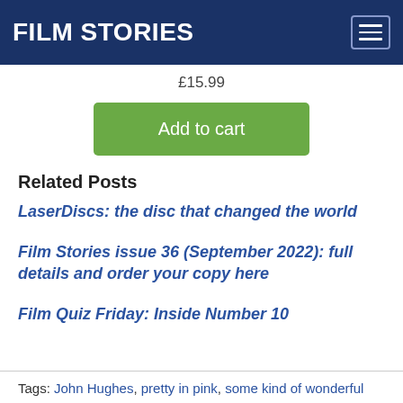FILM STORIES
£15.99
Add to cart
Related Posts
LaserDiscs: the disc that changed the world
Film Stories issue 36 (September 2022): full details and order your copy here
Film Quiz Friday: Inside Number 10
Tags: John Hughes, pretty in pink, some kind of wonderful